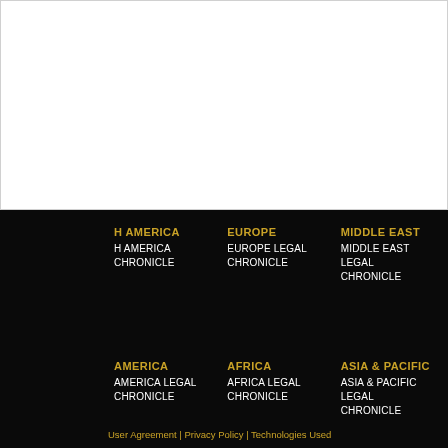[Figure (other): White content area at top of page with light grey border]
NORTH AMERICA - NORTH AMERICA LEGAL CHRONICLE
EUROPE - EUROPE LEGAL CHRONICLE
MIDDLE EAST - MIDDLE EAST LEGAL CHRONICLE
LATIN AMERICA - LATIN AMERICA LEGAL CHRONICLE
AFRICA - AFRICA LEGAL CHRONICLE
ASIA & PACIFIC - ASIA & PACIFIC LEGAL CHRONICLE
User Agreement | Privacy Policy | Technologies Used